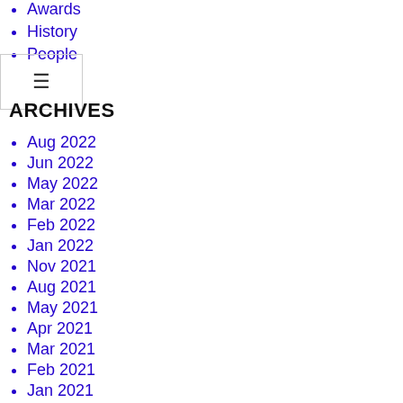Awards
History
People
ARCHIVES
Aug 2022
Jun 2022
May 2022
Mar 2022
Feb 2022
Jan 2022
Nov 2021
Aug 2021
May 2021
Apr 2021
Mar 2021
Feb 2021
Jan 2021